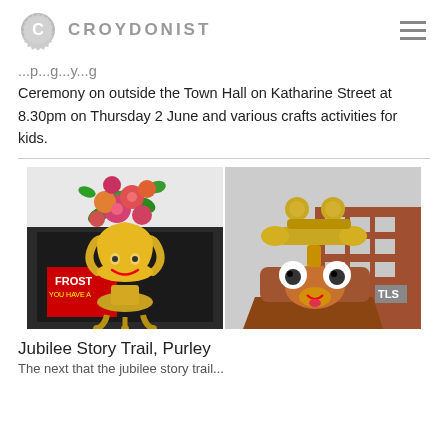CROYDONIST
Ceremony on outside the Town Hall on Katharine Street at 8.30pm on Thursday 2 June and various crafts activities for kids.
[Figure (photo): Two decorative sculpted characters: left is a golden trophy-shaped figure with a colorful flower bouquet head; right is a golden telephone-shaped character with googly eyes, set against a high street background.]
Jubilee Story Trail, Purley
The next line that the jubilee story trail...